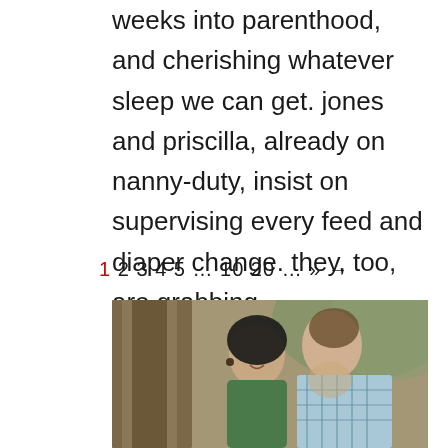weeks into parenthood, and cherishing whatever sleep we can get. jones and priscilla, already on nanny-duty, insist on supervising every feed and diaper change. they, too, are grabbing...
1 2 3 4 5 … 10 20 … » →
[Figure (photo): A couple outdoors near a large tree trunk. A woman with dark hair wearing a green top leans her head against a man in a blue plaid shirt who looks down at her.]